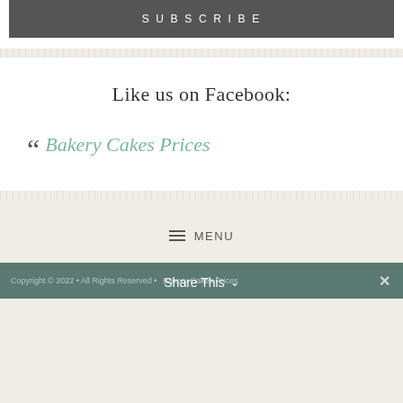SUBSCRIBE
Like us on Facebook:
“ Bakery Cakes Prices
≡ MENU
Copyright © 2022 • All Rights Reserved • Bakery Cakes Prices
Share This ∨